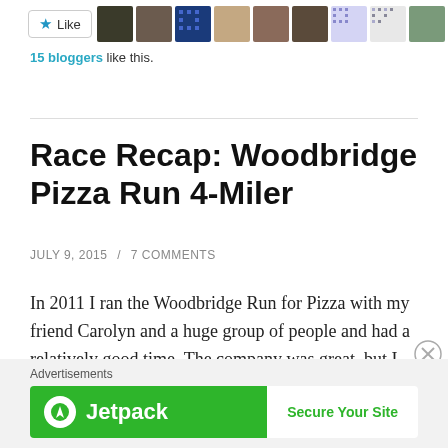[Figure (other): Like button with star icon followed by a row of blogger avatar profile photos]
15 bloggers like this.
Race Recap: Woodbridge Pizza Run 4-Miler
JULY 9, 2015 / 7 COMMENTS
In 2011 I ran the Woodbridge Run for Pizza with my friend Carolyn and a huge group of people and had a relatively good time. The company was great, but I
[Figure (other): Jetpack advertisement banner with green background showing Jetpack logo and 'Secure Your Site' button]